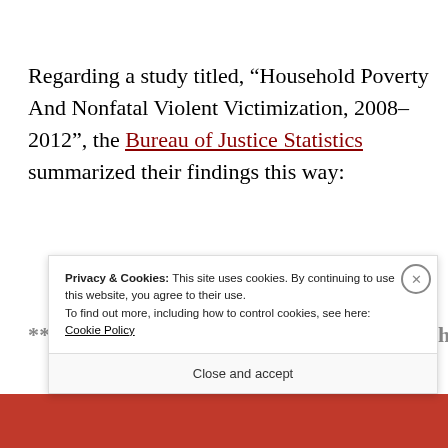Regarding a study titled, “Household Poverty And Nonfatal Violent Victimization, 2008–2012”, the Bureau of Justice Statistics summarized their findings this way:
**Persons in poor households at or below the [partially obscured]
Privacy & Cookies: This site uses cookies. By continuing to use this website, you agree to their use. To find out more, including how to control cookies, see here: Cookie Policy
Close and accept